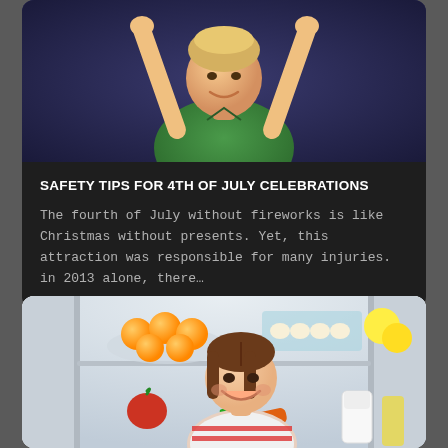[Figure (photo): Photo of a young boy in a green polo shirt with arms raised, smiling, against a dark blue-purple background]
SAFETY TIPS FOR 4TH OF JULY CELEBRATIONS
The fourth of July without fireworks is like Christmas without presents. Yet, this attraction was responsible for many injuries. in 2013 alone, there…
[Figure (photo): Photo of a young girl smiling and holding carrots and an apple in front of an open refrigerator stocked with oranges, eggs, juice, milk, and other foods]